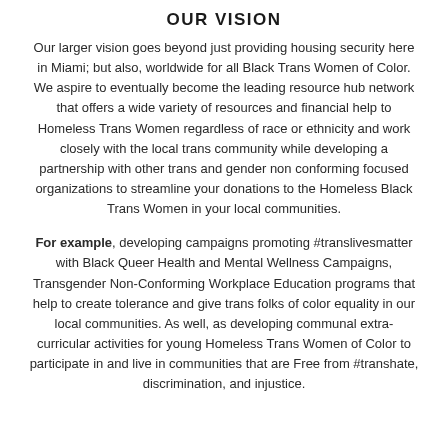OUR VISION
Our larger vision goes beyond just providing housing security here in Miami; but also, worldwide for all Black Trans Women of Color. We aspire to eventually become the leading resource hub network that offers a wide variety of resources and financial help to Homeless Trans Women regardless of race or ethnicity and work closely with the local trans community while developing a partnership with other trans and gender non conforming focused organizations to streamline your donations to the Homeless Black Trans Women in your local communities.
For example, developing campaigns promoting #translivesmatter with Black Queer Health and Mental Wellness Campaigns, Transgender Non-Conforming Workplace Education programs that help to create tolerance and give trans folks of color equality in our local communities. As well, as developing communal extra-curricular activities for young Homeless Trans Women of Color to participate in and live in communities that are Free from #transhate, discrimination, and injustice.